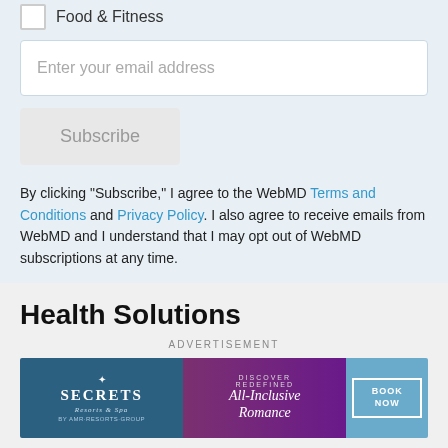Food & Fitness
Enter your email address
Subscribe
By clicking "Subscribe," I agree to the WebMD Terms and Conditions and Privacy Policy. I also agree to receive emails from WebMD and I understand that I may opt out of WebMD subscriptions at any time.
Health Solutions
ADVERTISEMENT
[Figure (other): Advertisement banner for Secrets Resorts & Spa featuring All-Inclusive Romance promotion with Book Now button]